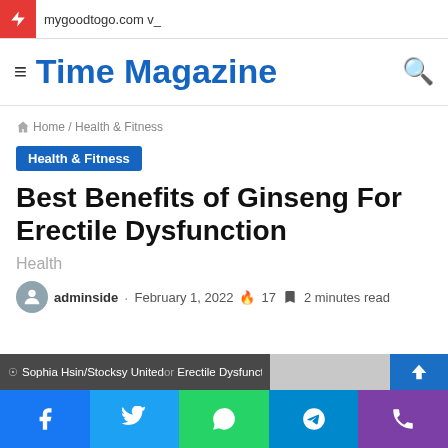mygoodtogo.com v_
Time Magazine
Home / Health & Fitness
Health & Fitness
Best Benefits of Ginseng For Erectile Dysfunction
Health
adminside · February 1, 2022 🔥 17 🔖 2 minutes read
Sophia Hsin/Stocksy United or Erectile Dysfunction